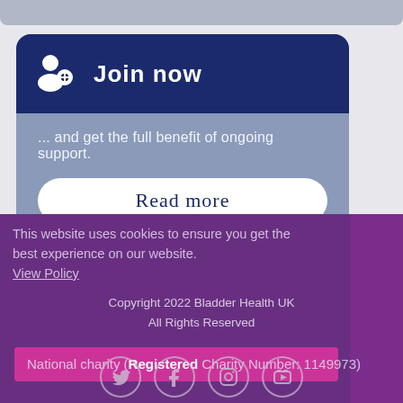[Figure (screenshot): Top grey rounded bar at top of page, partial UI element]
Join now
... and get the full benefit of ongoing support.
Read more
This website uses cookies to ensure you get the best experience on our website. View Policy
Copyright 2022 Bladder Health UK
All Rights Reserved
National charity (Registered Charity Number: 1149973)
[Figure (illustration): Social media icons: Twitter, Facebook, Instagram, YouTube]